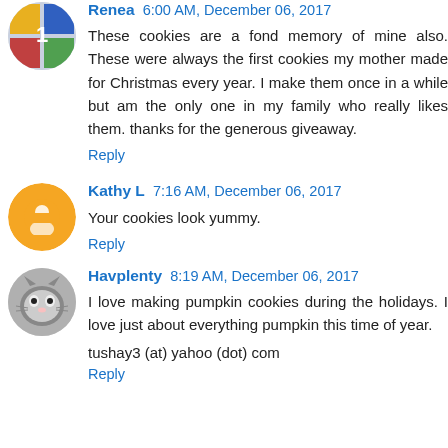Renea 6:00 AM, December 06, 2017
These cookies are a fond memory of mine also. These were always the first cookies my mother made for Christmas every year. I make them once in a while but am the only one in my family who really likes them. thanks for the generous giveaway.
Reply
Kathy L 7:16 AM, December 06, 2017
Your cookies look yummy.
Reply
Havplenty 8:19 AM, December 06, 2017
I love making pumpkin cookies during the holidays. I love just about everything pumpkin this time of year.
tushay3 (at) yahoo (dot) com
Reply